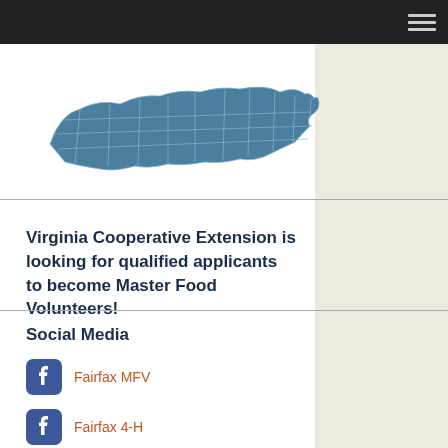[Figure (map): Blue map of Virginia showing county boundaries in light blue/steel blue color against a white background, with a beige/tan sidebar on the right portion.]
Virginia Cooperative Extension is looking for qualified applicants to become Master Food Volunteers!
Social Media
Fairfax MFV
Fairfax 4-H
@Fairfax4H